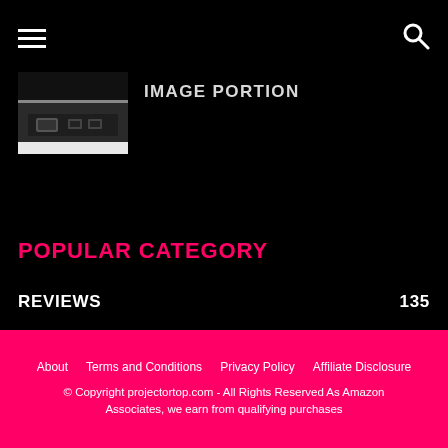Navigation header with hamburger menu and search icon
[Figure (photo): Close-up photo of laptop ports/connectors on dark background]
IMAGE PORTION (partially visible article title text)
POPULAR CATEGORY
REVIEWS 135
COMPARISONS 127
BUYING GUIDES 36
TIPS 28
About   Terms and Conditions   Privacy Policy   Affiliate Disclosure
© Copyright projectortop.com - All Rights Reserved As Amazon Associates, we earn from qualifying purchases